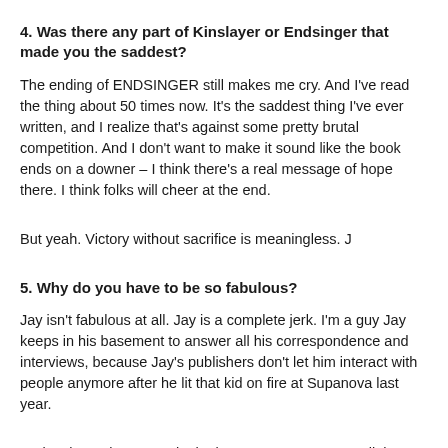4. Was there any part of Kinslayer or Endsinger that made you the saddest?
The ending of ENDSINGER still makes me cry. And I've read the thing about 50 times now. It's the saddest thing I've ever written, and I realize that's against some pretty brutal competition. And I don't want to make it sound like the book ends on a downer – I think there's a real message of hope there. I think folks will cheer at the end.
But yeah. Victory without sacrifice is meaningless. J
5. Why do you have to be so fabulous?
Jay isn't fabulous at all. Jay is a complete jerk. I'm a guy Jay keeps in his basement to answer all his correspondence and interviews, because Jay's publishers don't let him interact with people anymore after he lit that kid on fire at Supanova last year.
Seriously. He keeps me in the basement. Someone call the fucking police. I'm at